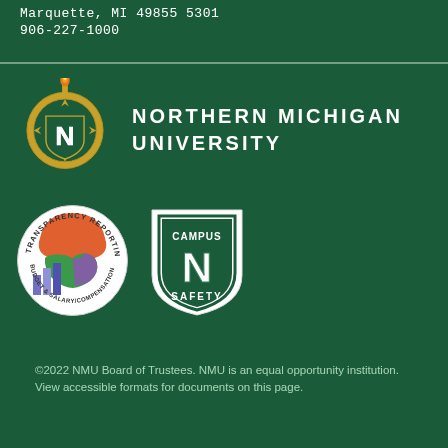Marquette, MI 49855 5301
906-227-1000
[Figure (logo): Northern Michigan University shield logo with torch on top and compass rose, gold and green colors, with N initial]
NORTHERN MICHIGAN UNIVERSITY
[Figure (logo): Transparency Reporting Budget & Salary/Compensation circular badge with Michigan state map in green, orange and purple sections with bar chart]
[Figure (logo): Campus Safety shield badge with N in center on dark green background]
©2022 NMU Board of Trustees. NMU is an equal opportunity institution. View accessible formats for documents on this page.